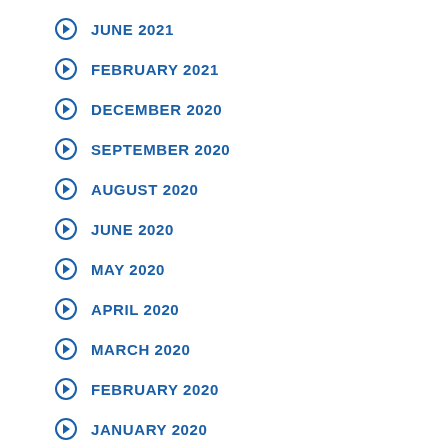JUNE 2021
FEBRUARY 2021
DECEMBER 2020
SEPTEMBER 2020
AUGUST 2020
JUNE 2020
MAY 2020
APRIL 2020
MARCH 2020
FEBRUARY 2020
JANUARY 2020